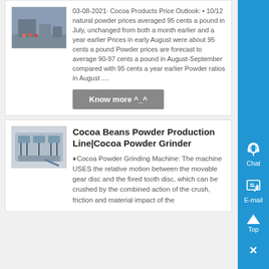03-08-2021· Cocoa Products Price Outlook: • 10/12 natural powder prices averaged 95 cents a pound in July, unchanged from both a month earlier and a year earlier Prices in early August were about 95 cents a pound Powder prices are forecast to average 90-97 cents a pound in August-September compared with 95 cents a year earlier Powder ratios in August ....
Know more ^_^
Cocoa Beans Powder Production Line|Cocoa Powder Grinder
♦Cocoa Powder Grinding Machine: The machine USES the relative motion between the movable gear disc and the fixed tooth disc, which can be crushed by the combined action of the crush, friction and material impact of the